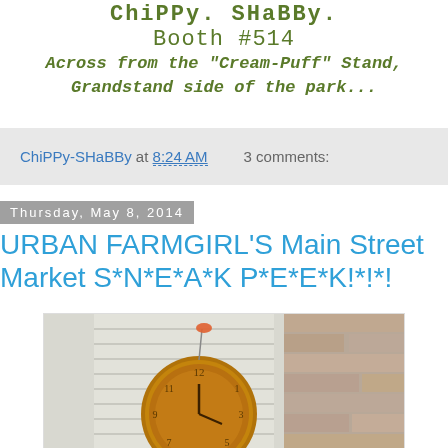ChiPPy. SHaBBy.
Booth #514
Across from the "Cream-Puff" Stand,
Grandstand side of the park...
ChiPPy-SHaBBy at 8:24 AM   3 comments:
Thursday, May 8, 2014
URBAN FARMGIRL'S Main Street Market S*N*E*A*K P*E*E*K!*!*!
[Figure (photo): Vintage rusty clock hanging on a white shutter/fence with brick wall in background]